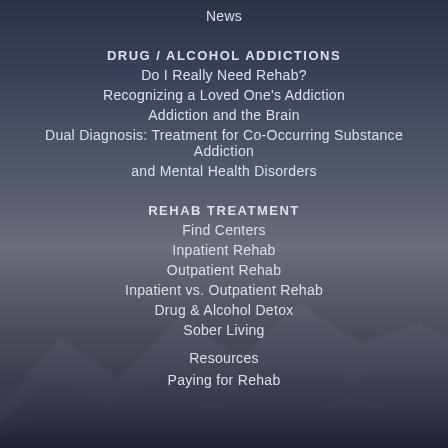News
DRUG / ALCOHOL ADDICTIONS
Do I Really Need Rehab?
Recognizing a Loved One's Addiction
Addiction and the Brain
Dual Diagnosis: Treatment for Co-Occurring Substance Addiction and Mental Health Disorders
REHAB TREATMENT
Find Centers
Inpatient Rehab
Outpatient Rehab
Inpatient vs. Outpatient Rehab
Drug & Alcohol Detox
Sober Living
Resources
Paying for Rehab